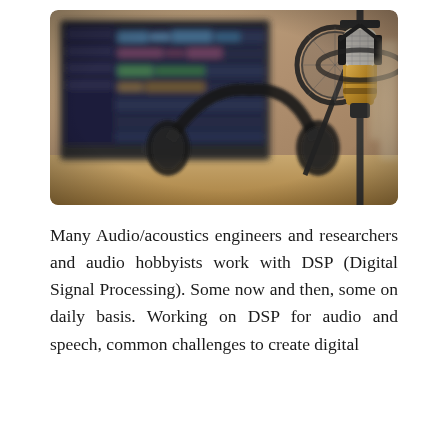[Figure (photo): Photo of a professional recording studio setup showing a condenser microphone on a stand with a pop filter, headphones, and an iMac computer displaying audio editing software in the background. Warm tones with a blurred depth-of-field effect.]
Many Audio/acoustics engineers and researchers and audio hobbyists work with DSP (Digital Signal Processing). Some now and then, some on daily basis. Working on DSP for audio and speech, common challenges to create digital